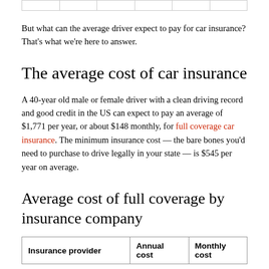But what can the average driver expect to pay for car insurance? That's what we're here to answer.
The average cost of car insurance
A 40-year old male or female driver with a clean driving record and good credit in the US can expect to pay an average of $1,771 per year, or about $148 monthly, for full coverage car insurance. The minimum insurance cost — the bare bones you'd need to purchase to drive legally in your state — is $545 per year on average.
Average cost of full coverage by insurance company
| Insurance provider | Annual cost | Monthly cost |
| --- | --- | --- |